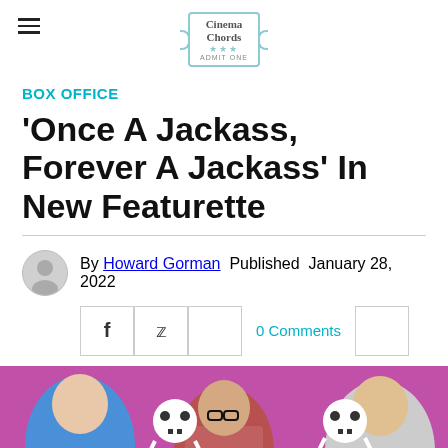Cinema Chords — ADMIT ONE
BOX OFFICE
'Once A Jackass, Forever A Jackass' In New Featurette
By Howard Gorman Published January 28, 2022
0 Comments
[Figure (photo): Three men posing against a pink background with Jackass skull logo decorations. Left man in blue shirt, center man with glasses in plaid shirt, right man smiling.]